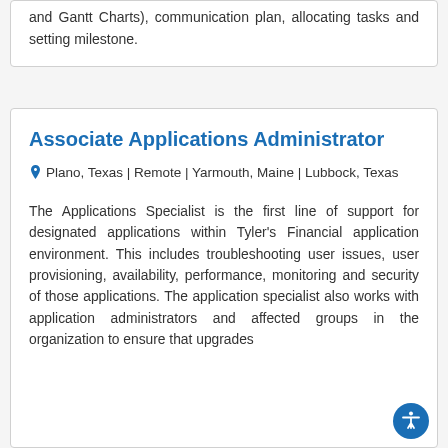and Gantt Charts), communication plan, allocating tasks and setting milestone.
Associate Applications Administrator
Plano, Texas | Remote | Yarmouth, Maine | Lubbock, Texas
The Applications Specialist is the first line of support for designated applications within Tyler's Financial application environment. This includes troubleshooting user issues, user provisioning, availability, performance, monitoring and security of those applications. The application specialist also works with application administrators and affected groups in the organization to ensure that upgrades